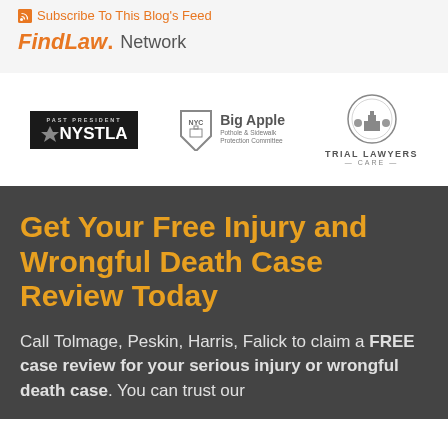Subscribe To This Blog's Feed
[Figure (logo): FindLaw Network logo with orange FindLaw text and grey Network text]
[Figure (logo): Three organization logos side by side: NYSTLA Past President (black badge), Big Apple Pothole & Sidewalk Protection Committee (shield logo), Trial Lawyers Care (circular emblem)]
Get Your Free Injury and Wrongful Death Case Review Today
Call Tolmage, Peskin, Harris, Falick to claim a FREE case review for your serious injury or wrongful death case. You can trust our